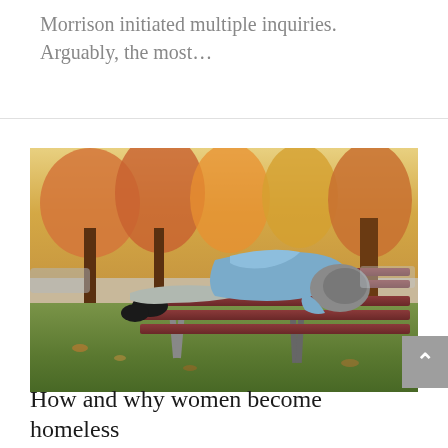Morrison initiated multiple inquiries. Arguably, the most...
[Figure (photo): A person lying on a park bench, wearing a blue jacket and grey hat, sleeping outdoors among autumn trees with orange and yellow foliage in the background.]
How and why women become homeless